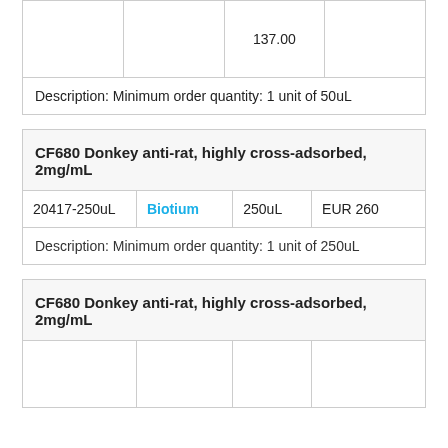|  |  |  |  |
| --- | --- | --- | --- |
|  |  | 137.00 |  |
| Description: Minimum order quantity: 1 unit of 50uL |  |  |  |
| CF680 Donkey anti-rat, highly cross-adsorbed, 2mg/mL |
| --- |
| 20417-250uL | Biotium | 250uL | EUR 260 |
| Description: Minimum order quantity: 1 unit of 250uL |  |  |  |
| CF680 Donkey anti-rat, highly cross-adsorbed, 2mg/mL |
| --- |
|  |  |  |  |